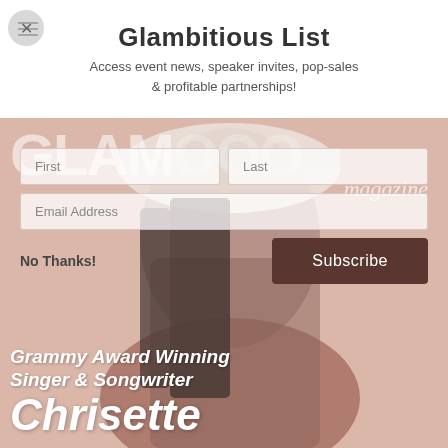Glambitious List
Access event news, speaker invites, pop-sales & profitable partnerships!
[Figure (photo): Magazine cover featuring a woman in a white cowboy hat laughing, with text 'Grammy Award Winning Singer & Songwriter Chrisette' and 'GLAMOOO Magazine' in background, overlaid with a subscription popup form with First/Last name fields, Email Address field, No Thanks link, and Subscribe button.]